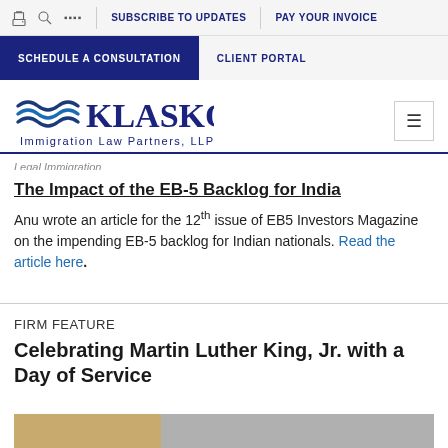SUBSCRIBE TO UPDATES | PAY YOUR INVOICE | SCHEDULE A CONSULTATION | CLIENT PORTAL
[Figure (logo): Klasko Immigration Law Partners, LLP logo with wave design]
Legal Immigration
The Impact of the EB-5 Backlog for India
Anu wrote an article for the 12th issue of EB5 Investors Magazine on the impending EB-5 backlog for Indian nationals. Read the article here.
FIRM FEATURE
Celebrating Martin Luther King, Jr. with a Day of Service